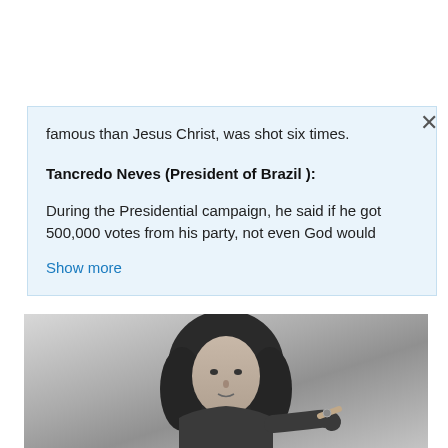famous than Jesus Christ, was shot six times.
Tancredo Neves (President of Brazil ):
During the Presidential campaign, he said if he got 500,000 votes from his party, not even God would
Show more
[Figure (photo): Black and white photograph of a person with long curly dark hair, pointing with one finger, wearing a jacket.]